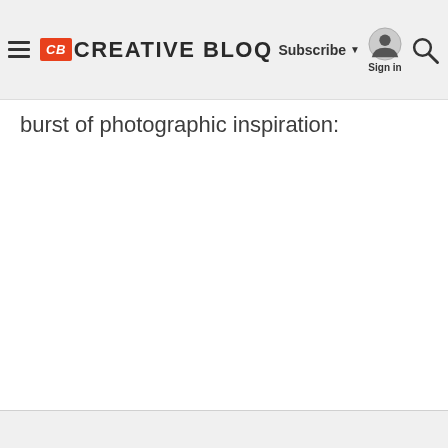Creative Bloq — Subscribe | Sign in | Search
burst of photographic inspiration: